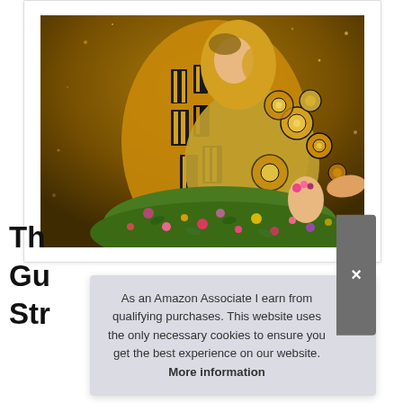[Figure (illustration): Klimt 'The Kiss' painting showing two figures in golden robes embracing, with floral lower portion, on dark brown background]
Th
Gu
Str
As an Amazon Associate I earn from qualifying purchases. This website uses the only necessary cookies to ensure you get the best experience on our website. More information